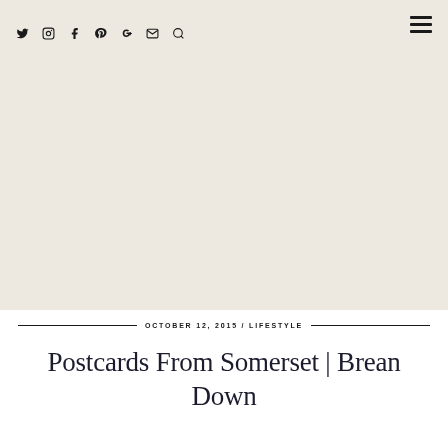Twitter Instagram Facebook Pinterest Google+ Email Search | Menu
[Figure (other): Large hero image area with beige/cream background, no visible image content]
OCTOBER 12, 2015 / LIFESTYLE
Postcards From Somerset | Brean Down